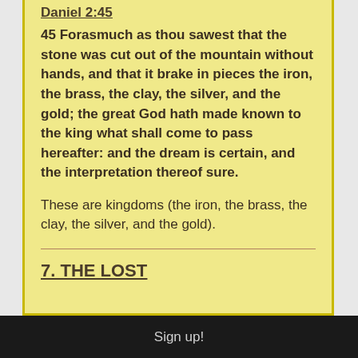Daniel 2:45
45 Forasmuch as thou sawest that the stone was cut out of the mountain without hands, and that it brake in pieces the iron, the brass, the clay, the silver, and the gold; the great God hath made known to the king what shall come to pass hereafter: and the dream is certain, and the interpretation thereof sure.
These are kingdoms (the iron, the brass, the clay, the silver, and the gold).
7. THE LOST
Sign up!